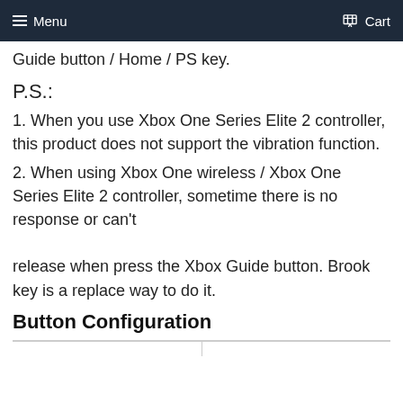Menu  Cart
Guide button / Home / PS key.
P.S.:
1. When you use Xbox One Series Elite 2 controller, this product does not support the vibration function.
2. When using Xbox One wireless / Xbox One Series Elite 2 controller, sometime there is no response or can't release when press the Xbox Guide button. Brook key is a replace way to do it.
Button Configuration